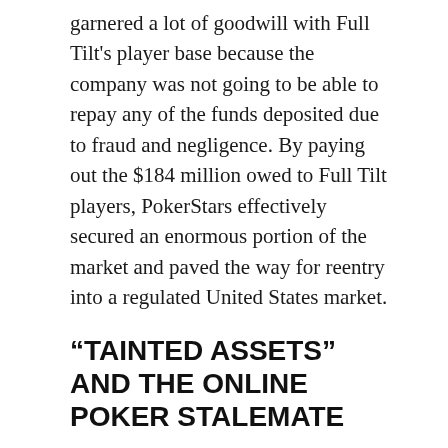garnered a lot of goodwill with Full Tilt's player base because the company was not going to be able to repay any of the funds deposited due to fraud and negligence. By paying out the $184 million owed to Full Tilt players, PokerStars effectively secured an enormous portion of the market and paved the way for reentry into a regulated United States market.
“TAINTED ASSETS” AND THE ONLINE POKER STALEMATE
After Amaya Gaming Group purchased the PokerStars and Full Tilt brands, it was expected that PokerStars would soon debut in regulated markets again, because Amaya already had its foot in the door of the regulated U.S. market. Instead, the opposition began clamoring about Amaya’s acquisition of “tainted assets,” which encompassed